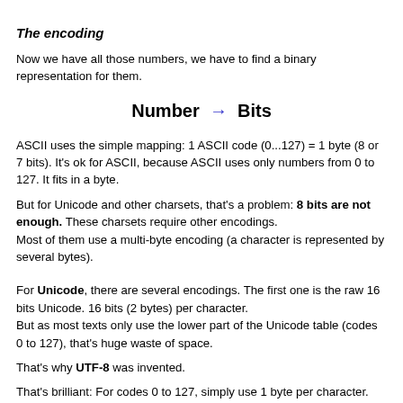The encoding
Now we have all those numbers, we have to find a binary representation for them.
ASCII uses the simple mapping: 1 ASCII code (0...127) = 1 byte (8 or 7 bits). It's ok for ASCII, because ASCII uses only numbers from 0 to 127. It fits in a byte.
But for Unicode and other charsets, that's a problem: 8 bits are not enough. These charsets require other encodings.
Most of them use a multi-byte encoding (a character is represented by several bytes).
For Unicode, there are several encodings. The first one is the raw 16 bits Unicode. 16 bits (2 bytes) per character.
But as most texts only use the lower part of the Unicode table (codes 0 to 127), that's huge waste of space.
That's why UTF-8 was invented.
That's brilliant: For codes 0 to 127, simply use 1 byte per character. Just